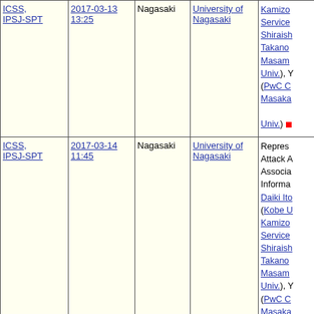| Workshop | Date/Time | Location | Venue | Details |
| --- | --- | --- | --- | --- |
| ICSS, IPSJ-SPT | 2017-03-13 13:25 | Nagasaki | University of Nagasaki | Kamizo... Service... Shiraish... Takano... Masam... Univ.), Y... (PwC C... Masaka... Univ.) |
| ICSS, IPSJ-SPT | 2017-03-14 11:45 | Nagasaki | University of Nagasaki | Repres... Attack A... Associa... Informa... Daiki Ito... (Kobe U... Kamizo... Service... Shiraish... Takano... Masam... Univ.), Y... (PwC C... Masaka... Univ.) |